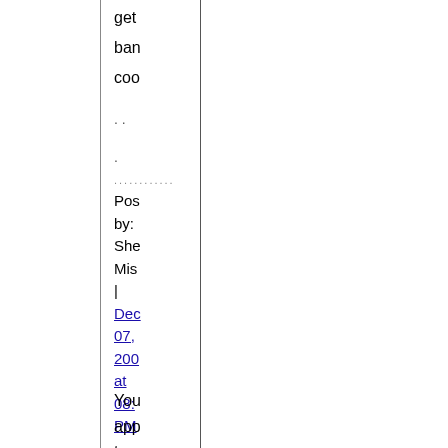get
ban
coo
. .
.
..........
Posted by: She
Mis
|
Dec
07,
200
at
08:
PM
You
app
to
be
one
of
the
bet
tips